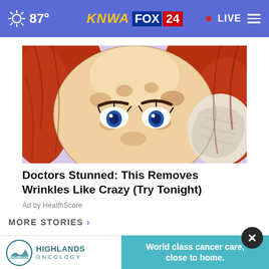87° KNWA FOX 24 • LIVE
[Figure (illustration): Illustrated close-up of a woman's face with freckled/spotted skin, blue eyes, and red hair, holding a cloth to her cheek — used as an advertisement image for a skincare product.]
Doctors Stunned: This Removes Wrinkles Like Crazy (Try Tonight)
Ad by HealthScore
MORE STORIES >
[Figure (photo): Small thumbnail photo of a person, partially visible, used as a news story thumbnail.]
in prison for h...
[Figure (logo): Highlands Oncology logo with teal mountain/wave icon]
World class cancer care, close to home.